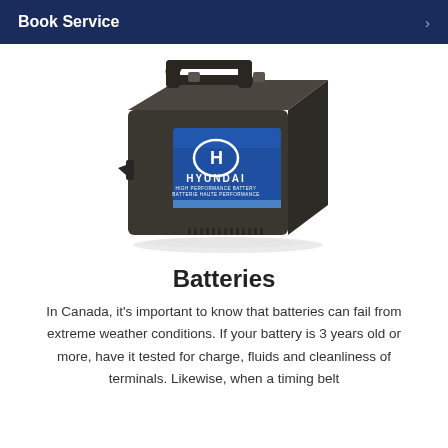Book Service
[Figure (photo): A Hyundai car battery with a dark casing and a blue label showing the Hyundai logo and brand name.]
Batteries
In Canada, it's important to know that batteries can fail from extreme weather conditions. If your battery is 3 years old or more, have it tested for charge, fluids and cleanliness of terminals. Likewise, when a timing belt